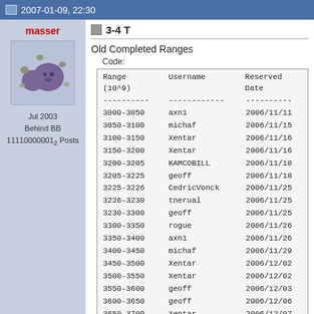2007-01-09, 22:30
3-4 T
Old Completed Ranges
Code:
| Range (10^9) | Username | Reserved Date |
| --- | --- | --- |
| 3000-3050 | axn1 | 2006/11/11 |
| 3050-3100 | michaf | 2006/11/15 |
| 3100-3150 | Xentar | 2006/11/16 |
| 3150-3200 | Xentar | 2006/11/16 |
| 3200-3205 | KAMCOBILL | 2006/11/18 |
| 3205-3225 | geoff | 2006/11/18 |
| 3225-3226 | CedricVonck | 2006/11/25 |
| 3226-3230 | tnerual | 2006/11/25 |
| 3230-3300 | geoff | 2006/11/25 |
| 3300-3350 | rogue | 2006/11/26 |
| 3350-3400 | axn1 | 2006/11/26 |
| 3400-3450 | michaf | 2006/11/29 |
| 3450-3500 | Xentar | 2006/12/02 |
| 3500-3550 | Xentar | 2006/12/02 |
| 3550-3600 | geoff | 2006/12/03 |
| 3600-3650 | geoff | 2006/12/06 |
| 3650-3700 | Xentar | 2006/12/07 |
| 3700-3750 | Xentar | 2006/12/07 |
| 3750-3800 | michaf | 2006/12/07 |
| 3800-3850 | jasong | 2006/12/08 |
| 3850-3900 | ... | 2006/12/10 |